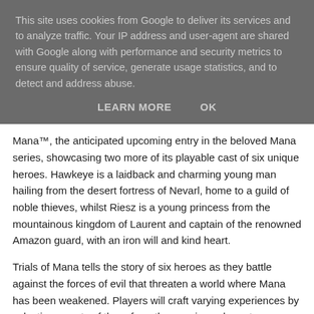This site uses cookies from Google to deliver its services and to analyze traffic. Your IP address and user-agent are shared with Google along with performance and security metrics to ensure quality of service, generate usage statistics, and to detect and address abuse.
LEARN MORE    OK
Mana™, the anticipated upcoming entry in the beloved Mana series, showcasing two more of its playable cast of six unique heroes. Hawkeye is a laidback and charming young man hailing from the desert fortress of Nevarl, home to a guild of noble thieves, whilst Riesz is a young princess from the mountainous kingdom of Laurent and captain of the renowned Amazon guard, with an iron will and kind heart.
Trials of Mana tells the story of six heroes as they battle against the forces of evil that threaten a world where Mana has been weakened. Players will craft varying experiences by selecting a party of three from these unique characters as they embark on the adventure of a lifetime to protect the very essence of Mana itself. Originally released in Japan as